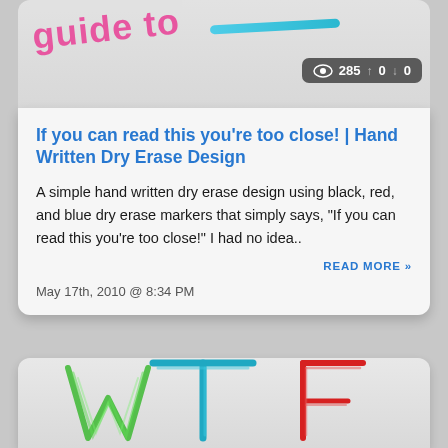[Figure (illustration): Decorative handwritten text in pink/red and blue brush stroke on gray background, top of blog post card]
285  ↑ 0  ↓ 0
If you can read this you're too close! | Hand Written Dry Erase Design
A simple hand written dry erase design using black, red, and blue dry erase markers that simply says, "If you can read this you're too close!" I had no idea..
READ MORE »
May 17th, 2010 @ 8:34 PM
[Figure (illustration): 3D styled hand-drawn colored letters W, T, F in green, teal/blue, and red marker sketch style on gray background]